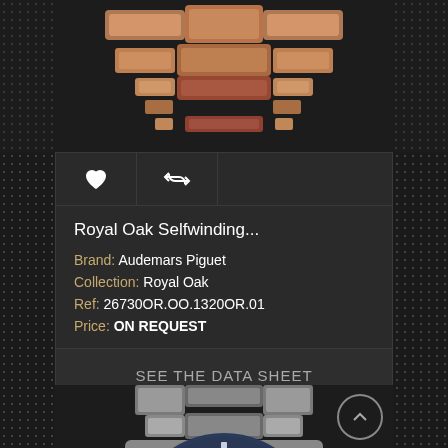[Figure (photo): Close-up of rose gold Audemars Piguet Royal Oak watch bracelet from above]
[Figure (illustration): Heart icon and retweet/share icon buttons]
Royal Oak Selfwinding...
Brand: Audemars Piguet
Collection: Royal Oak
Ref: 26730OR.OO.1320OR.01
Price: ON REQUEST
SEE THE DATA SHEET
[Figure (photo): Audemars Piguet Royal Oak stainless steel watch with blue dial, shown from slightly above front angle]